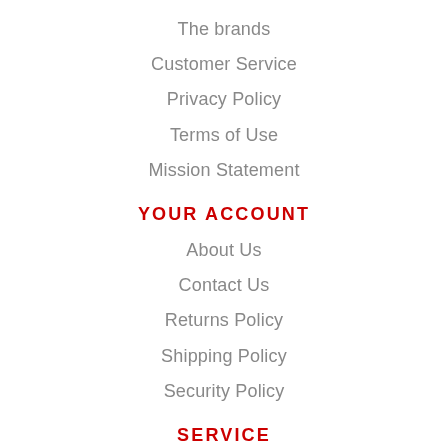The brands
Customer Service
Privacy Policy
Terms of Use
Mission Statement
YOUR ACCOUNT
About Us
Contact Us
Returns Policy
Shipping Policy
Security Policy
SERVICE